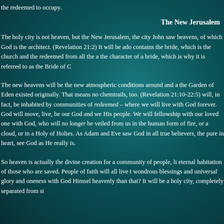the redeemed to occupy.
The New Jerusalem
The holy city is not heaven, but the New Jerusalem, the city John saw heavens, of which God is the architect. (Revelation 21:2) It will be ado contains the bride, which is the church and the redeemed from all the a the character of a bride, which is why it is referred to as the Bride of C
The new heavens will be the new atmospheric conditions around and a the Garden of Eden existed originally. That means no chemtrails, too. (Revelation 21:10-22:5) will, in fact, be inhabited by communities of redeemed – where we will live with God forever. God will move, live, be our God and we His people. We will fellowship with our loved one with God, who will no longer be veiled from us in the human form of fire, or a cloud, or in a Holy of Holies. As Adam and Eve saw God in all true believers, the pure in heart, see God as He really is.
So heaven is actually the divine creation for a community of people, li eternal habitation of those who are saved. People of faith will all live t wondrous blessings and universal glory and oneness with God Himsel heavenly than that? It will be a holy city, completely separated from si